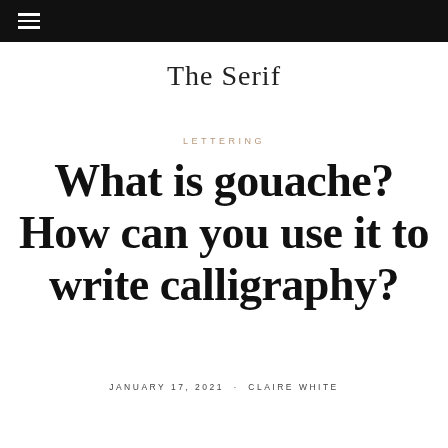≡
The Serif
LETTERING
What is gouache? How can you use it to write calligraphy?
JANUARY 17, 2021 · CLAIRE WHITE